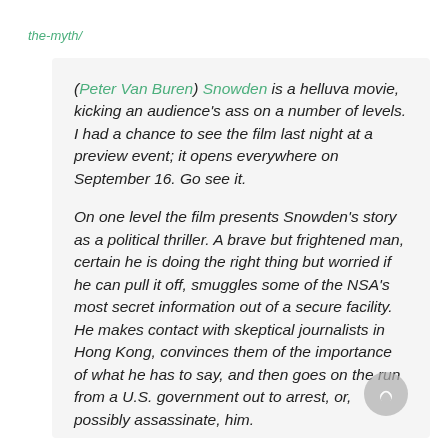the-myth/
(Peter Van Buren) Snowden is a helluva movie, kicking an audience's ass on a number of levels. I had a chance to see the film last night at a preview event; it opens everywhere on September 16. Go see it.

On one level the film presents Snowden's story as a political thriller. A brave but frightened man, certain he is doing the right thing but worried if he can pull it off, smuggles some of the NSA's most secret information out of a secure facility. He makes contact with skeptical journalists in Hong Kong, convinces them of the importance of what he has to say, and then goes on the run from a U.S. government out to arrest, or, possibly assassinate, him.